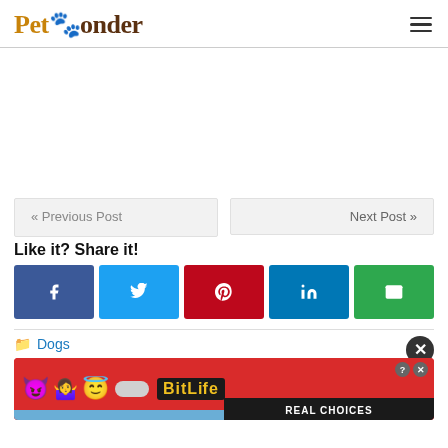PetPonder
« Previous Post
Next Post »
Like it? Share it!
[Figure (other): Social share buttons: Facebook, Twitter, Pinterest, LinkedIn, Email]
Dogs
[Figure (other): BitLife advertisement banner with emojis and 'REAL CHOICES' text]